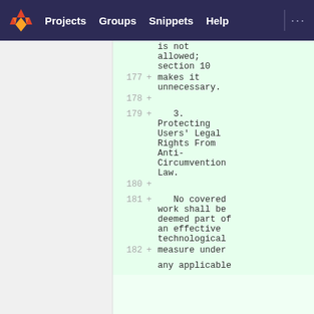Projects  Groups  Snippets  Help  ...
is not allowed; section 10 makes it unnecessary.

   3. Protecting Users' Legal Rights From Anti-Circumvention Law.

   No covered work shall be deemed part of an effective technological measure under any applicable